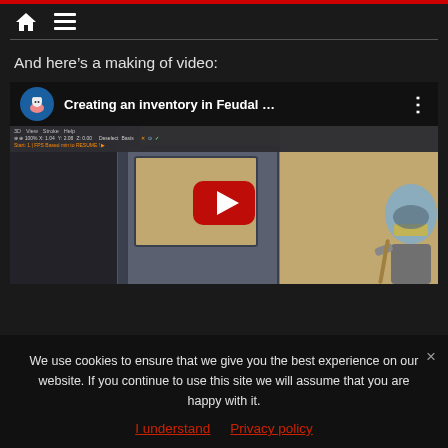Home | Menu
And here’s a making of video:
[Figure (screenshot): YouTube video embed showing 'Creating an inventory in Feudal ...' with a channel avatar of a mouse/rat character, a making-of video thumbnail showing an animation scene with a character in armor and a software interface toolbar, and a red YouTube play button overlay.]
We use cookies to ensure that we give you the best experience on our website. If you continue to use this site we will assume that you are happy with it.
I understand   Privacy policy